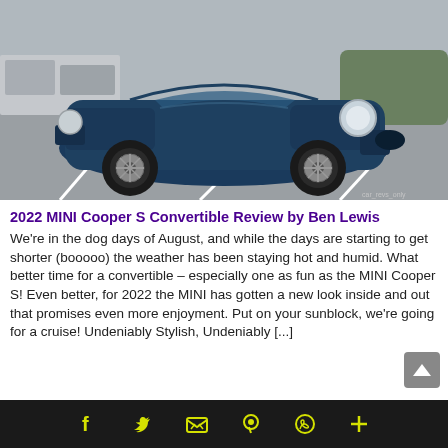[Figure (photo): A dark navy/teal MINI Cooper S Convertible with the top down, parked in a parking lot with white lined spaces. The photo has a watermark in the bottom right corner reading 'car_revs_only'.]
2022 MINI Cooper S Convertible Review by Ben Lewis
We're in the dog days of August, and while the days are starting to get shorter (booooo) the weather has been staying hot and humid. What better time for a convertible – especially one as fun as the MINI Cooper S! Even better, for 2022 the MINI has gotten a new look inside and out that promises even more enjoyment. Put on your sunblock, we're going for a cruise! Undeniably Stylish, Undeniably [...]
Social share icons: Facebook, Twitter, Email, Pinterest, WhatsApp, More (+)